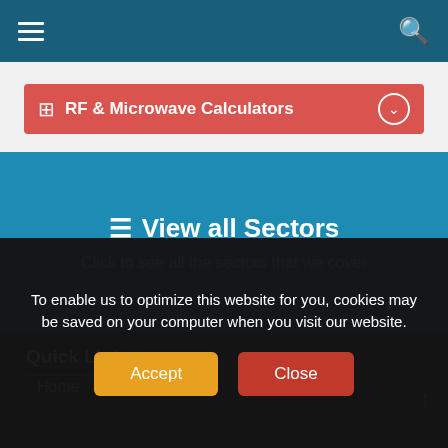Navigation bar with hamburger menu and search icon
RF & Microwave Calculators
View all Sectors
Click to see all the sectors that we cover
Quick Links
Home
To enable us to optimize this website for you, cookies may be saved on your computer when you visit our website.